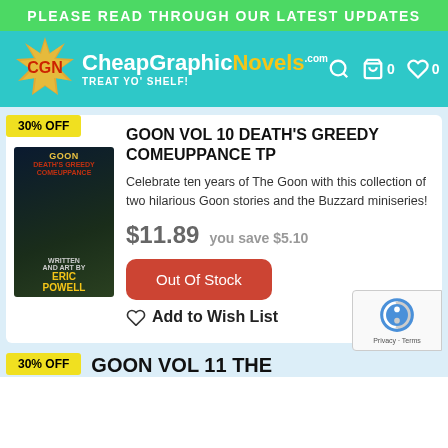PLEASE READ THROUGH OUR LATEST UPDATES
[Figure (logo): CheapGraphicNovels.com logo with tagline TREAT YO' SHELF!]
GOON VOL 10 DEATH'S GREEDY COMEUPPANCE TP
Celebrate ten years of The Goon with this collection of two hilarious Goon stories and the Buzzard miniseries!
$11.89  you save $5.10
Out Of Stock
♡  Add to Wish List
GOON VOL 11 THE